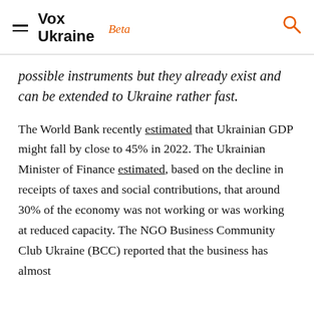Vox Ukraine Beta
possible instruments but they already exist and can be extended to Ukraine rather fast.
The World Bank recently estimated that Ukrainian GDP might fall by close to 45% in 2022. The Ukrainian Minister of Finance estimated, based on the decline in receipts of taxes and social contributions, that around 30% of the economy was not working or was working at reduced capacity. The NGO Business Community Club Ukraine (BCC) reported that the business has almost